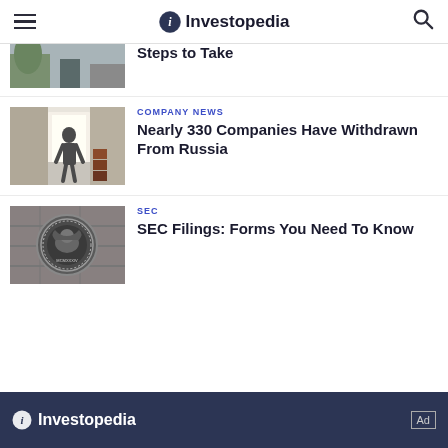Investopedia
[Figure (photo): Partial image of person walking in office/hallway with plant visible]
Steps to Take
[Figure (photo): Person walking toward open bright doorway in warehouse/building]
COMPANY NEWS
Nearly 330 Companies Have Withdrawn From Russia
[Figure (photo): SEC - U.S. Securities and Exchange Commission seal/emblem on wall]
SEC
SEC Filings: Forms You Need To Know
Investopedia  Ad